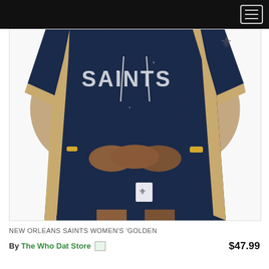[Figure (photo): A woman wearing a New Orleans Saints navy blue hooded jersey dress with gold/tan accent stripes on the sides and sleeves. The dress has 'SAINTS' text on the front. She is shown from neck to mid-thigh against a white background, with hands clasped at her midsection. She wears a gold watch and rings.]
NEW ORLEANS SAINTS WOMEN'S 'GOLDEN
By The Who Dat Store [icon]     $47.99